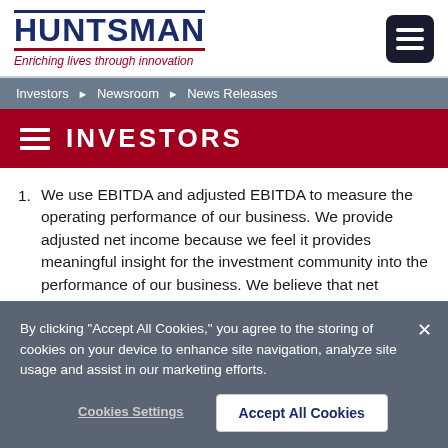HUNTSMAN — Enriching lives through innovation
Investors ▶ Newsroom ▶ News Releases
INVESTORS
1. We use EBITDA and adjusted EBITDA to measure the operating performance of our business. We provide adjusted net income because we feel it provides meaningful insight for the investment community into the performance of our business.  We believe that net
By clicking "Accept All Cookies," you agree to the storing of cookies on your device to enhance site navigation, analyze site usage and assist in our marketing efforts.
Cookies Settings   Accept All Cookies